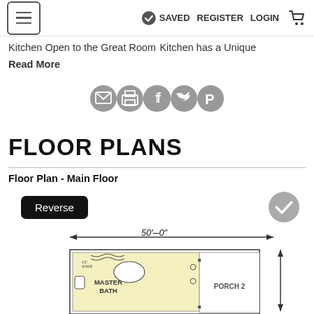SAVED  REGISTER  LOGIN
Kitchen Open to the Great Room Kitchen has a Unique
Read More
[Figure (other): Social sharing icons: email, print, Facebook, Twitter, Pinterest]
FLOOR PLANS
Floor Plan - Main Floor
Reverse
[Figure (engineering-diagram): Floor plan blueprint showing Main Floor with Master Bath, Shower, Porch 2, and dimension 50'-0'' width indicator]